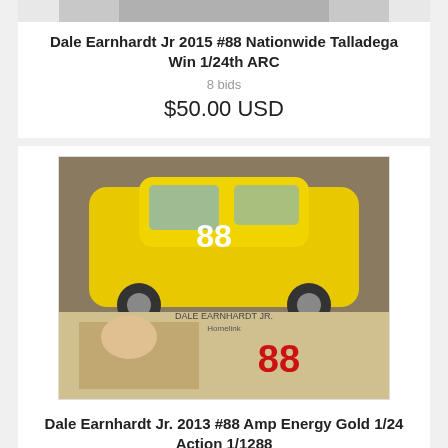[Figure (photo): Partial view of a Dale Earnhardt Jr NASCAR diecast car product listing image (cropped at top)]
Dale Earnhardt Jr 2015 #88 Nationwide Talladega Win 1/24th ARC
8 bids
$50.00 USD
[Figure (photo): Photo of a yellow Dale Earnhardt Jr #88 Amp Energy NASCAR diecast car with its box showing Dale Earnhardt Jr's face and red 88 logo]
Dale Earnhardt Jr. 2013 #88 Amp Energy Gold 1/24 Action 1/1288
12 bids
$51.00 USD